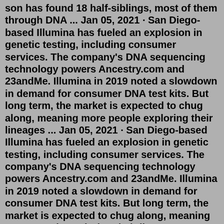son has found 18 half-siblings, most of them through DNA ... Jan 05, 2021 · San Diego-based Illumina has fueled an explosion in genetic testing, including consumer services. The company's DNA sequencing technology powers Ancestry.com and 23andMe. Illumina in 2019 noted a slowdown in demand for consumer DNA test kits. But long term, the market is expected to chug along, meaning more people exploring their lineages ... Jan 05, 2021 · San Diego-based Illumina has fueled an explosion in genetic testing, including consumer services. The company's DNA sequencing technology powers Ancestry.com and 23andMe. Illumina in 2019 noted a slowdown in demand for consumer DNA test kits. But long term, the market is expected to chug along, meaning more people exploring their lineages ... Mar 25, 2015 · The skeleton of Richard III, the last Plantagenet king, was discovered under a car park in Leicester in 2012. His identity was confirmed through his mitochondrial DNA, passed down through the ... An outrageous US report has today bizarrely claimed that Prince